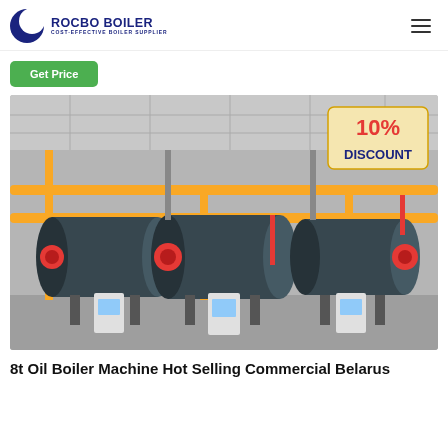[Figure (logo): Rocbo Boiler logo with blue crescent icon and text 'ROCBO BOILER - COST-EFFECTIVE BOILER SUPPLIER']
Get Price
[Figure (photo): Industrial boiler room with three large blue horizontal cylindrical oil/gas boilers, yellow overhead pipes, red and grey piping, control panels, concrete floor. A '10% DISCOUNT' badge overlaid in top-right.]
8t Oil Boiler Machine Hot Selling Commercial Belarus